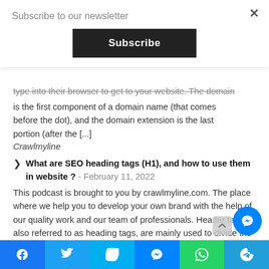Subscribe to our newsletter
Subscribe
type into their browser to get to your website. The domain is the first component of a domain name (that comes before the dot), and the domain extension is the last portion (after the [...]
Crawlmyline
What are SEO heading tags (H1), and how to use them in website ? - February 11, 2022
This podcast is brought to you by crawlmyline.com. The place where we help you to develop your own brand with the help of our quality work and our team of professionals. Header tags also referred to as heading tags, are mainly used to divide the headings and subheadings that we use and see on any web [...]
Crawlmyline